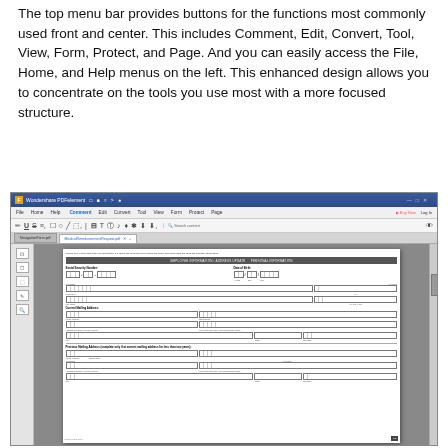The top menu bar provides buttons for the functions most commonly used front and center. This includes Comment, Edit, Convert, Tool, View, Form, Protect, and Page. And you can easily access the File, Home, and Help menus on the left. This enhanced design allows you to concentrate on the tools you use most with a more focused structure.
[Figure (screenshot): Screenshot of Wondershare PDFelement application showing the top toolbar with menu items (File, Home, Help, Comment, Edit, Convert, Tool, View, Form, Protect, Page) and a PDF form open displaying fields for Social Security Number, Date of Birth, First Name, Last Name, Current Mailing Address, and Previous Mailing Address.]